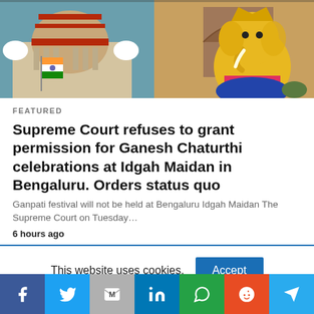[Figure (photo): Composite image showing the Supreme Court of India dome with Indian flag on the left, and a large Ganesh statue on the right with a temple/arch in the background]
FEATURED
Supreme Court refuses to grant permission for Ganesh Chaturthi celebrations at Idgah Maidan in Bengaluru. Orders status quo
Ganpati festival will not be held at Bengaluru Idgah Maidan The Supreme Court on Tuesday…
6 hours ago
This website uses cookies.
[Figure (infographic): Social media share bar with icons for Facebook, Twitter, Gmail, LinkedIn, WhatsApp, Reddit, and Telegram]